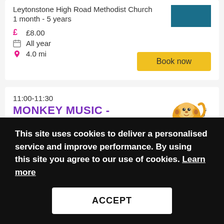Leytonstone High Road Methodist Church
1 month - 5 years
£ £8.00
All year
4.0 mi
Book now
11:00-11:30
MONKEY MUSIC - ROCK 'N' ROLL
All Saints Church
3 months - 12 months
[Figure (logo): Monkey Music logo with cartoon monkey and colorful text]
This site uses cookies to deliver a personalised service and improve performance. By using this site you agree to our use of cookies. Learn more
ACCEPT